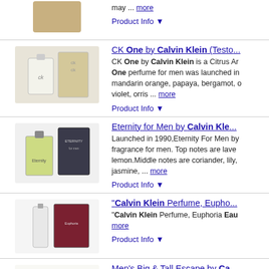[Figure (photo): Partial product image at top (cut off)]
may ... more
Product Info ▼
[Figure (photo): CK One by Calvin Klein bottle and box]
CK One by Calvin Klein (Testo...
CK One by Calvin Klein is a Citrus Ar... One perfume for men was launched in... mandarin orange, papaya, bergamot, ... violet, orris ... more
Product Info ▼
[Figure (photo): Eternity for Men by Calvin Klein bottle and box]
Eternity for Men by Calvin Kle...
Launched in 1990,Eternity For Men by... fragrance for men. Top notes are lave... lemon.Middle notes are coriander, lily,... jasmine, ... more
Product Info ▼
[Figure (photo): Calvin Klein Perfume Euphoria bottle and box]
"Calvin Klein Perfume, Eupho...
"Calvin Klein Perfume, Euphoria Eau... more
Product Info ▼
[Figure (photo): Men's Big & Tall Escape by Calvin Klein bottle]
Men's Big & Tall Escape by Ca...
Launched by the design house of Calv... classified as a refreshing, spicy, laven... scent possesses a blend of mandarin,... 3.4 oz. ... more
Product Info ▼